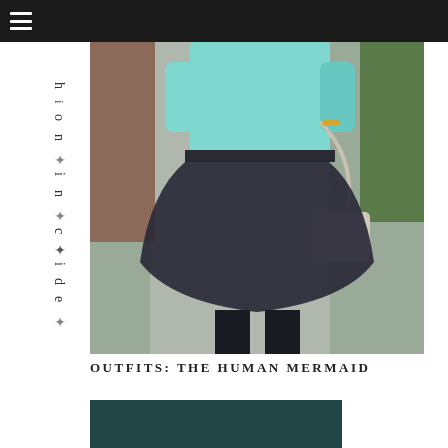[Figure (photo): Fashion blog photo showing a person wearing a teal/turquoise textured top, navy tulle skirt, black tights, holding a silver crossbody bag, standing on a path. Vertical text overlay on left side reads 'fashion inside']
OUTFITS: THE HUMAN MERMAID
[Figure (photo): Partial view of a second fashion photo with dark teal/green background, only the top portion visible]